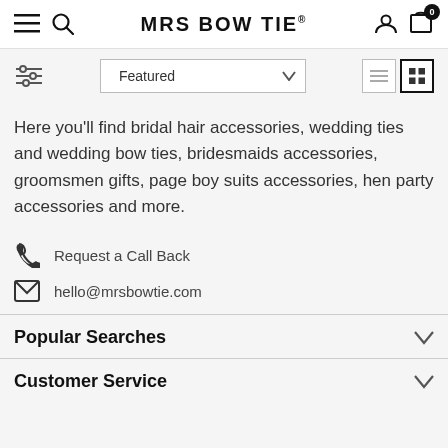MRS BOW TIE®
Here you'll find bridal hair accessories, wedding ties and wedding bow ties, bridesmaids accessories, groomsmen gifts, page boy suits accessories, hen party accessories and more.
Request a Call Back
hello@mrsbowtie.com
Popular Searches
Customer Service